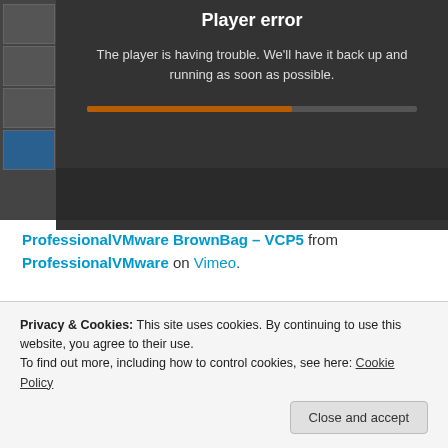[Figure (screenshot): Video player showing 'Player error' message with dark background. Left side has a thumbnail strip with small preview images. Main area shows error text and a progress bar. Text reads: 'Player error' and 'The player is having trouble. We'll have it back up and running as soon as possible.']
ProfessionalVMware BrownBag – VCP5 from ProfessionalVMware on Vimeo.
I really enjoyed it and hopefully I can do a few more in the future. A big thanks to Cody and Damian for inviting me and hopefully the resources i covered will help people
Privacy & Cookies: This site uses cookies. By continuing to use this website, you agree to their use.
To find out more, including how to control cookies, see here: Cookie Policy
Close and accept